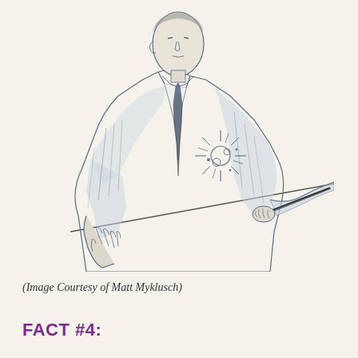[Figure (illustration): Pencil sketch illustration of a man in a suit and tie, leaning over a surface/table, holding a pen or stick in his right hand. There is a starburst/spark effect drawn near his chest area. The drawing style is detailed pencil/ink illustration.]
(Image Courtesy of Matt Myklusch)
FACT #4: